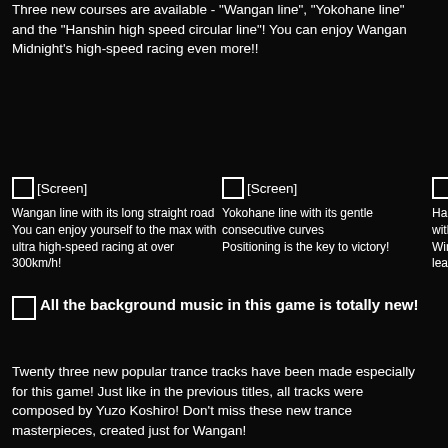Three new courses are available - "Wangan line", "Yokohane line" and the "Hanshin high speed circular line"! You can enjoy Wangan Midnight's high-speed racing even more!!
[Figure (screenshot): Screen placeholder box labeled [Screen] for Wangan line]
Wangan line with its long straight road
You can enjoy yourself to the max with ultra high-speed racing at over 300km/h!
[Figure (screenshot): Screen placeholder box labeled [Screen] for Yokohane line]
Yokohane line with its gentle consecutive curves
Positioning is the key to victory!
[Figure (screenshot): Screen placeholder box labeled [S...] partially visible]
Hans... with ... Winin... leads...
All the background music in this game is totally new!
Twenty three new popular trance tracks have been made especially for this game! Just like in the previous titles, all tracks were composed by Yuzo Koshiro! Don't miss these new trance masterpieces, created just for Wangan!